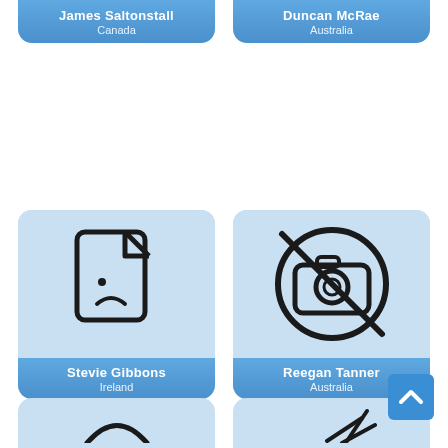[Figure (screenshot): Profile card for James Saltonstall, Canada — partially visible at top, blue gradient label]
[Figure (screenshot): Profile card for Duncan McRae, Australia — partially visible at top, blue gradient label]
[Figure (screenshot): Profile card for Stevie Gibbons, Ireland — sad document icon (no image placeholder), blue gradient label]
[Figure (screenshot): Profile card for Reegan Tanner, Australia — camera disabled icon (no photo icon), blue gradient label]
[Figure (screenshot): Partially visible profile card at bottom left]
[Figure (screenshot): Partially visible profile card at bottom right]
[Figure (illustration): Scroll-to-top button: blue square with white upward chevron, bottom right corner]